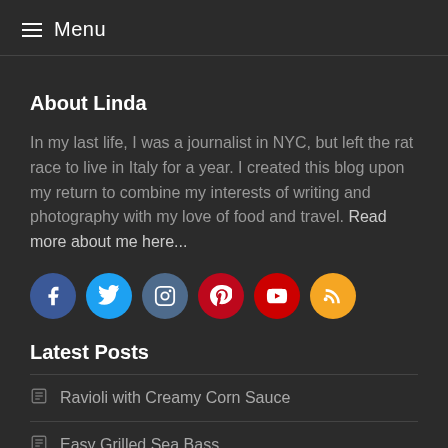≡ Menu
About Linda
In my last life, I was a journalist in NYC, but left the rat race to live in Italy for a year. I created this blog upon my return to combine my interests of writing and photography with my love of food and travel. Read more about me here...
[Figure (infographic): Social media icons: Facebook (blue), Twitter (light blue), Instagram (steel blue), Pinterest (red), YouTube (red), RSS (orange)]
Latest Posts
Ravioli with Creamy Corn Sauce
Easy Grilled Sea Bass